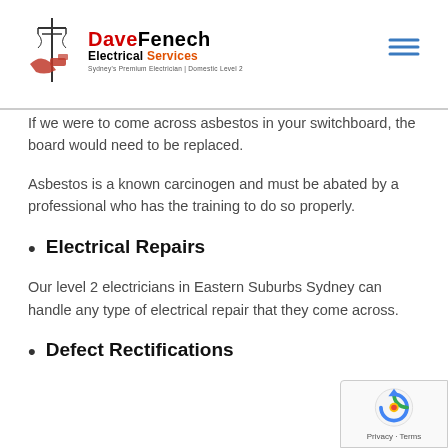Dave Fenech Electrical Services — Sydney's Premium Electrician | Domestic Level 2
If we were to come across asbestos in your switchboard, the board would need to be replaced.
Asbestos is a known carcinogen and must be abated by a professional who has the training to do so properly.
Electrical Repairs
Our level 2 electricians in Eastern Suburbs Sydney can handle any type of electrical repair that they come across.
Defect Rectifications